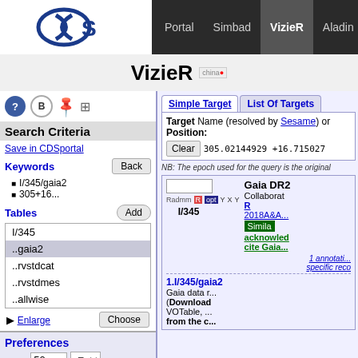Portal | Simbad | VizieR | Aladin | X-Match | Othe...
VizieR
Search Criteria
Save in CDSportal
Keywords
I/345/gaia2
305+16...
Tables
| I/345 |
| ..gaia2 |
| ..rvstdcat |
| ..rvstdmes |
| ..allwise |
Preferences
max: 50
HTML Table
All columns
Compute
Simple Target | List Of Targets
Target Name (resolved by Sesame) or Position:
Clear  305.02144929 +16.715027...
NB: The epoch used for the query is the original...
[Figure (screenshot): VizieR catalog search interface showing I/345/gaia2 (Gaia DR2) catalog entry with thumbnail, radio buttons, and catalog description links]
Gaia DR2
Collaborat...
R...
2018A&A...
Similar
acknowledge
cite Gaia...
1.I/345/gaia2  Gaia data r... (Download... VOTable, ... from the c...